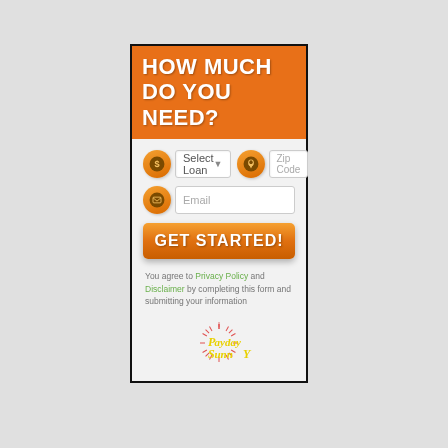HOW MUCH DO YOU NEED?
[Figure (screenshot): Web form widget with fields: Select Loan Amount dropdown, Zip Code input, Email input, GET STARTED button, disclaimer text, and PaydaySunny logo]
You agree to Privacy Policy and Disclaimer by completing this form and submitting your information
[Figure (logo): PaydaySunny logo with red sunburst rays and yellow text reading 'PaydaY SuNNY']